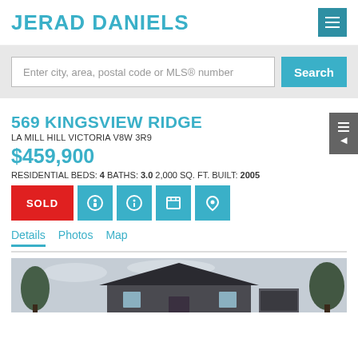JERAD DANIELS
Enter city, area, postal code or MLS® number
569 KINGSVIEW RIDGE
LA MILL HILL VICTORIA V8W 3R9
$459,900
RESIDENTIAL BEDS: 4 BATHS: 3.0 2,000 SQ. FT. BUILT: 2005
SOLD
Details
Photos
Map
[Figure (photo): Exterior photo of a residential house at 569 Kingsview Ridge, showing roof and trees]